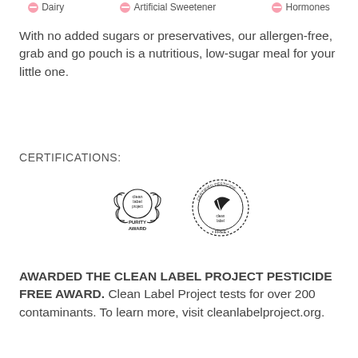Dairy
Artificial Sweetener
Hormones
With no added sugars or preservatives, our allergen-free, grab and go pouch is a nutritious, low-sugar meal for your little one.
CERTIFICATIONS:
[Figure (logo): Clean Label Project Purity Award badge — wreath design with text 'clean label project' and 'PURITY AWARD']
[Figure (logo): Certified Pesticide Free Clean Label badge — circular seal with leaf graphic]
AWARDED THE CLEAN LABEL PROJECT PESTICIDE FREE AWARD. Clean Label Project tests for over 200 contaminants. To learn more, visit cleanlabelproject.org.